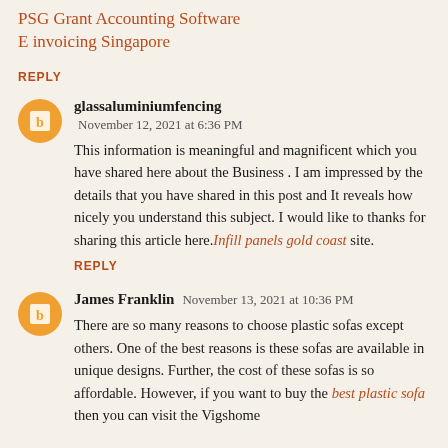PSG Grant Accounting Software E invoicing Singapore
REPLY
glassaluminiumfencing
November 12, 2021 at 6:36 PM
This information is meaningful and magnificent which you have shared here about the Business . I am impressed by the details that you have shared in this post and It reveals how nicely you understand this subject. I would like to thanks for sharing this article here. Infill panels gold coast site.
REPLY
James Franklin
November 13, 2021 at 10:36 PM
There are so many reasons to choose plastic sofas except others. One of the best reasons is these sofas are available in unique designs. Further, the cost of these sofas is so affordable. However, if you want to buy the best plastic sofa then you can visit the Vigshome